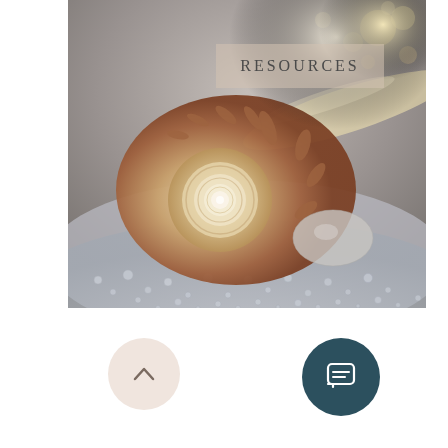[Figure (photo): Close-up photograph of a spiky sea snail shell (turbinidae/murex type) resting on wet sand with sea foam and bokeh light effects in the background. Warm golden sunset light visible.]
RESOURCES
[Figure (other): Up arrow chevron button — circular pale pink/beige button with an upward-pointing chevron arrow in the center]
[Figure (other): Chat button — circular dark teal button with a speech bubble / chat icon in white in the center]